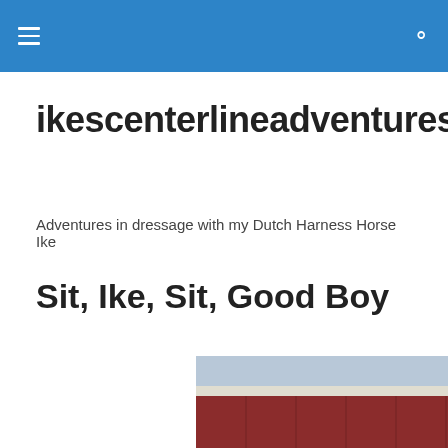ikescenterlineadventures — navigation header with hamburger menu and search icon
ikescenterlineadventures
Adventures in dressage with my Dutch Harness Horse Ike
Sit, Ike, Sit, Good Boy
[Figure (photo): A brown horse wearing a bridle, photographed in front of a red barn with white trim. The horse is facing slightly left, showing its head and neck in close-up.]